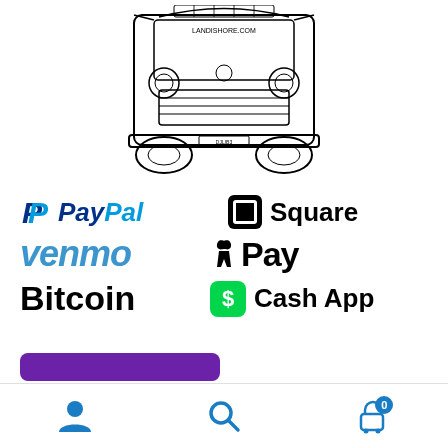[Figure (illustration): Line drawing / sketch of a Volkswagen van (front view with hood open) with text 'LANDISHORE.COM' visible on the vehicle]
[Figure (infographic): Payment method logos: PayPal, Square, Venmo, Apple Pay, Bitcoin, Cash App]
[Figure (infographic): Partially visible purple button at the bottom of the payment section]
[Figure (infographic): Bottom navigation bar with user/account icon, search icon, and shopping cart icon with badge showing 0]